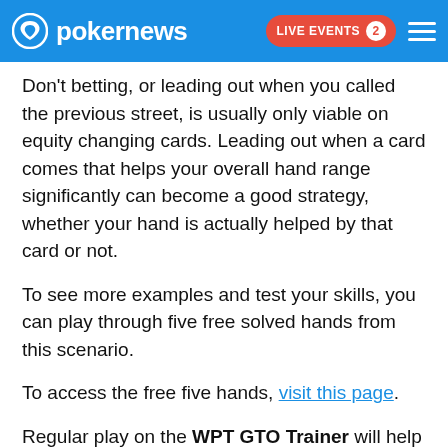pokernews | LIVE EVENTS 2
Don't betting, or leading out when you called the previous street, is usually only viable on equity changing cards. Leading out when a card comes that helps your overall hand range significantly can become a good strategy, whether your hand is actually helped by that card or not.
To see more examples and test your skills, you can play through five free solved hands from this scenario.
To access the free five hands, visit this page.
Regular play on the WPT GTO Trainer will help you adjust your decisions closer and closer to GTO strategy.
You don't have to be the world's best player to use GTO Strategy, and thanks to the WPT GTO Trainer, now you don't have to buy expensive software or have expert level knowledge to study GTO.